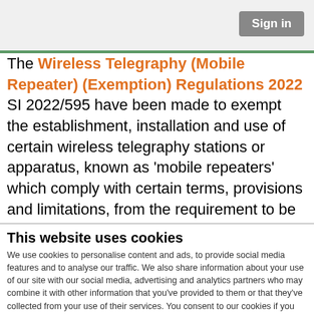Sign in
The Wireless Telegraphy (Mobile Repeater) (Exemption) Regulations 2022 SI 2022/595 have been made to exempt the establishment, installation and use of certain wireless telegraphy stations or apparatus, known as 'mobile repeaters' which comply with certain terms, provisions and limitations, from the requirement to be licensed under section
This website uses cookies
We use cookies to personalise content and ads, to provide social media features and to analyse our traffic. We also share information about your use of our site with our social media, advertising and analytics partners who may combine it with other information that you've provided to them or that they've collected from your use of their services. You consent to our cookies if you continue to use our website.
OK
Necessary  Preferences  Statistics  Marketing  Show details